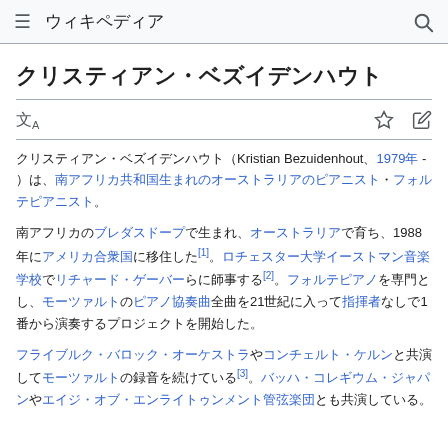≡ ウィキペディア 🔍
クリスティアン・ベズイデンハウト
文A ☆ ✏
クリスティアン・ベズイデンハウト（Kristian Bezuidenhout、1979年 - ）は、南アフリカ共和国生まれのオーストラリアのピアニスト・フォルテピアニスト。
南アフリカのブレダスドープで生まれ、オーストラリアで育ち、1988年にアメリカ合衆国に移住した[1]。ロチェスター大学イーストマン音楽学校でリチャード・ゲーバーらに師事する[2]。フォルテピアノを専門とし、モーツァルトのピアノ協奏曲全曲を21世紀に入って指揮者なしで1番から演奏するプロジェクトを開始した。
フライブルク・バロック・オーケストラやコンチェルト・ケルンと共演してモーツァルトの録音を続けている[3]。バッハ・コレギウム・ジャパンやエイジ・オブ・エンライトゥンメント管弦楽団とも共演している。